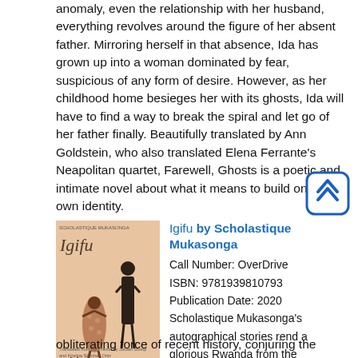anomaly, even the relationship with her husband, everything revolves around the figure of her absent father. Mirroring herself in that absence, Ida has grown up into a woman dominated by fear, suspicious of any form of desire. However, as her childhood home besieges her with its ghosts, Ida will have to find a way to break the spiral and let go of her father finally. Beautifully translated by Ann Goldstein, who also translated Elena Ferrante's Neapolitan quartet, Farewell, Ghosts is a poetic and intimate novel about what it means to build one's own identity.
[Figure (illustration): Book cover of Igifu - light salmon/peach background with silhouette figures of a person in patterned dress and a tall dark figure]
Igifu by Scholastique Mukasonga
Call Number: OverDrive
ISBN: 9781939810793
Publication Date: 2020
Scholastique Mukasonga's autographical stories rend a glorious Rwanda from the obliterating force of recent history, conjuring the noble cows of her home or the dew-swollen grass they graze on. In the title story, five-year-old Colomba tells of a merciless overlord,